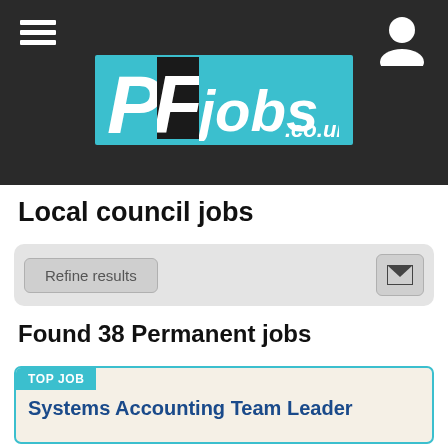[Figure (logo): PFjobs.co.uk logo — teal/cyan background with large P and F letters, white text reading jobs.co.uk]
Local council jobs
Refine results
Found 38 Permanent jobs
TOP JOB
Systems Accounting Team Leader